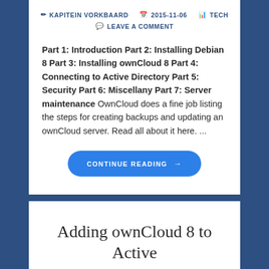KAPITEIN VORKBAARD  2015-11-06  TECH  LEAVE A COMMENT
Part 1: Introduction Part 2: Installing Debian 8 Part 3: Installing ownCloud 8 Part 4: Connecting to Active Directory Part 5: Security Part 6: Miscellany Part 7: Server maintenance OwnCloud does a fine job listing the steps for creating backups and updating an ownCloud server. Read all about it here. ...
CONTINUE READING →
Adding ownCloud 8 to Active